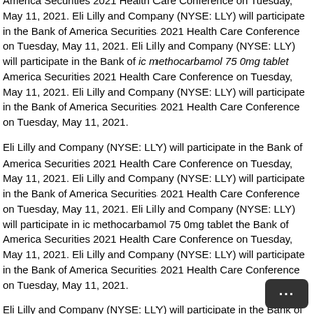America Securities 2021 Health Care Conference on Tuesday, May 11, 2021. Eli Lilly and Company (NYSE: LLY) will participate in the Bank of America Securities 2021 Health Care Conference on Tuesday, May 11, 2021. Eli Lilly and Company (NYSE: LLY) will participate in the Bank of ic methocarbamol 75 0mg tablet America Securities 2021 Health Care Conference on Tuesday, May 11, 2021. Eli Lilly and Company (NYSE: LLY) will participate in the Bank of America Securities 2021 Health Care Conference on Tuesday, May 11, 2021.
Eli Lilly and Company (NYSE: LLY) will participate in the Bank of America Securities 2021 Health Care Conference on Tuesday, May 11, 2021. Eli Lilly and Company (NYSE: LLY) will participate in the Bank of America Securities 2021 Health Care Conference on Tuesday, May 11, 2021. Eli Lilly and Company (NYSE: LLY) will participate in ic methocarbamol 75 0mg tablet the Bank of America Securities 2021 Health Care Conference on Tuesday, May 11, 2021. Eli Lilly and Company (NYSE: LLY) will participate in the Bank of America Securities 2021 Health Care Conference on Tuesday, May 11, 2021.
Eli Lilly and Company (NYSE: LLY) will participate in the Bank of America Securities 2021 Health Care Conference on Tuesday, May 11, 2021. Eli Lilly and Company (NYSE: LLY) will ic methocarbamol 75 0mg tablet participate in the Bank of America Securities 2021 Health Care Conference on Tuesday, May 11, 2021. Eli Lilly and Company (NYSE: LLY) will participate in the Bank of America Securities 2021 Health